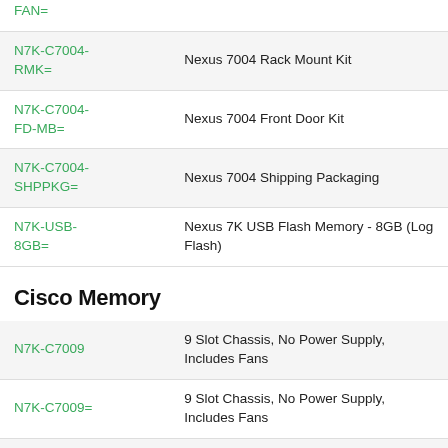| Code | Description |
| --- | --- |
| FAN= |  |
| N7K-C7004-RMK= | Nexus 7004 Rack Mount Kit |
| N7K-C7004-FD-MB= | Nexus 7004 Front Door Kit |
| N7K-C7004-SHPPKG= | Nexus 7004 Shipping Packaging |
| N7K-USB-8GB= | Nexus 7K USB Flash Memory - 8GB (Log Flash) |
Cisco Memory
| Code | Description |
| --- | --- |
| N7K-C7009 | 9 Slot Chassis, No Power Supply, Includes Fans |
| N7K-C7009= | 9 Slot Chassis, No Power Supply, Includes Fans |
| N7K-C7010= | 10 Slot Chassis, No Power Supply, Fans Included |